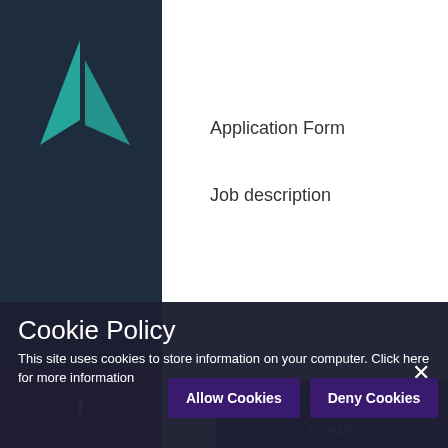[Figure (logo): Teal sailboat/triangle logo on dark blue sidebar]
Application Form
Job description
IN THIS SECTION
HOME
Cookie Policy
This site uses cookies to store information on your computer. Click here for more information
Allow Cookies
Deny Cookies